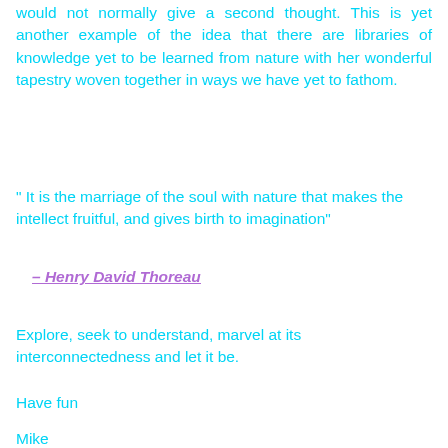would not normally give a second thought. This is yet another example of the idea that there are libraries of knowledge yet to be learned from nature with her wonderful tapestry woven together in ways we have yet to fathom.
" It is the marriage of the soul with nature that makes the intellect fruitful, and gives birth to imagination"
– Henry David Thoreau
Explore, seek to understand, marvel at its interconnectedness and let it be.
Have fun
Mike